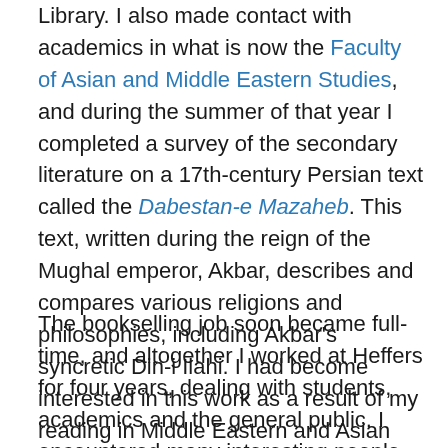Library. I also made contact with academics in what is now the Faculty of Asian and Middle Eastern Studies, and during the summer of that year I completed a survey of the secondary literature on a 17th-century Persian text called the Dabestan-e Mazaheb. This text, written during the reign of the Mughal emperor, Akbar, describes and compares various religions and philosophies, including Akbar's syncretic Din-i Ilahi. I had become interested in this work as a result of my reading in Middle Eastern and Asian philosophies. I was even provisionally accepted as an MPhil student at King's College, but was unable to obtain funding for further studies.
The bookselling job soon became full-time, and altogether I worked at Heffers for four years, dealing with students, academics and the general public. I encountered many interesting people, including some celebrities, and my first